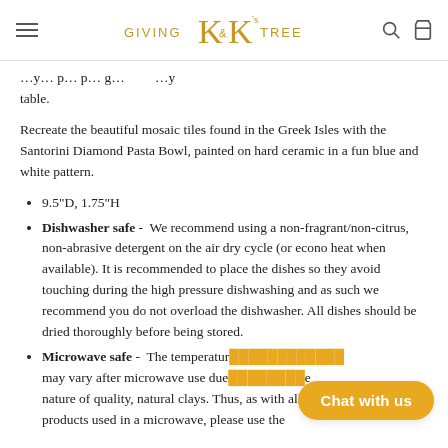Giving K&K's Tree — navigation header with logo
…y… p… p… g… …y table.
Recreate the beautiful mosaic tiles found in the Greek Isles with the Santorini Diamond Pasta Bowl, painted on hard ceramic in a fun blue and white pattern.
9.5"D, 1.75"H
Dishwasher safe - We recommend using a non-fragrant/non-citrus, non-abrasive detergent on the air dry cycle (or econo heat when available). It is recommended to place the dishes so they avoid touching during the high pressure dishwashing and as such we recommend you do not overload the dishwasher. All dishes should be dried thoroughly before being stored.
Microwave safe - The temperature may vary after microwave use due to the nature of quality, natural clays. Thus, as with all products used in a microwave, please use the